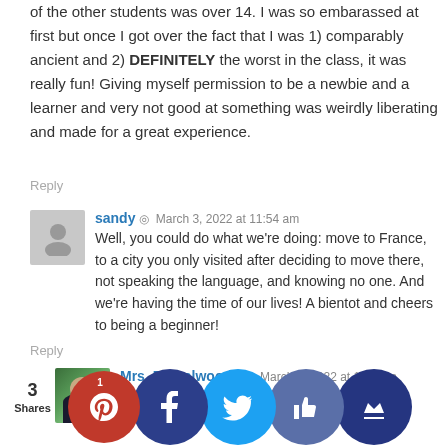of the other students was over 14. I was so embarassed at first but once I got over the fact that I was 1) comparably ancient and 2) DEFINITELY the worst in the class, it was really fun! Giving myself permission to be a newbie and a learner and very not good at something was weirdly liberating and made for a great experience.
Reply
sandy · March 3, 2022 at 11:54 am
Well, you could do what we're doing: move to France, to a city you only visited after deciding to move there, not speaking the language, and knowing no one. And we're having the time of our lives! A bientot and cheers to being a beginner!
Reply
Mrs. Frugalwoods · March 3, 2022 at 1:15 pm
How fabulous!!! Way to go :)!
Reply